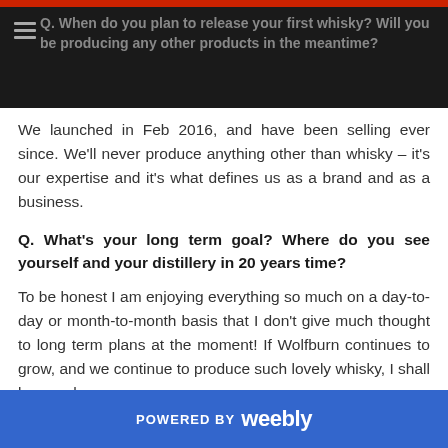Q. When do you plan to release your first whisky? Will you be producing any other products in the meantime?
We launched in Feb 2016, and have been selling ever since. We'll never produce anything other than whisky – it's our expertise and it's what defines us as a brand and as a business.
Q. What's your long term goal? Where do you see yourself and your distillery in 20 years time?
To be honest I am enjoying everything so much on a day-to-day or month-to-month basis that I don't give much thought to long term plans at the moment!  If Wolfburn continues to grow, and we continue to produce such lovely whisky, I shall be very happy.
Q. If you were to compare your distillery to any other existing or closed one, which would you most aspire to
POWERED BY weebly